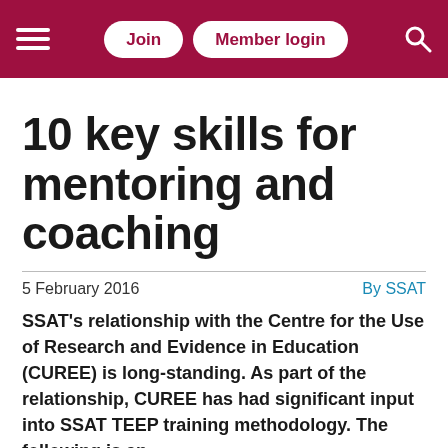Join | Member login
10 key skills for mentoring and coaching
5 February 2016   By SSAT
SSAT’s relationship with the Centre for the Use of Research and Evidence in Education (CUREE) is long-standing. As part of the relationship, CUREE has had significant input into SSAT TEEP training methodology. The following is an